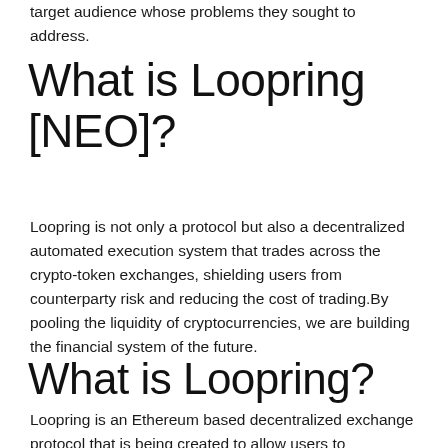target audience whose problems they sought to address.
What is Loopring [NEO]?
Loopring is not only a protocol but also a decentralized automated execution system that trades across the crypto-token exchanges, shielding users from counterparty risk and reducing the cost of trading.By pooling the liquidity of cryptocurrencies, we are building the financial system of the future.
What is Loopring?
Loopring is an Ethereum based decentralized exchange protocol that is being created to allow users to